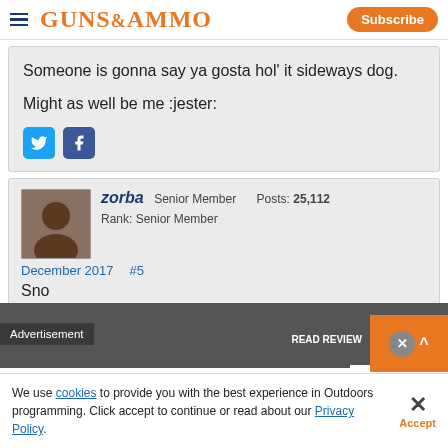GUNS&AMMO | Subscribe
Someone is gonna say ya gosta hol' it sideways dog.

Might as well be me :jester:
zorba  Senior Member  Posts: 25,112  Rank: Senior Member
December 2017  #5
Sno...
[Figure (screenshot): Advertisement banner: VERSATILE NEW GUN VISE IS A MUST FOR EVERY | READ REVIEW]
We use cookies to provide you with the best experience in Outdoors programming. Click accept to continue or read about our Privacy Policy.